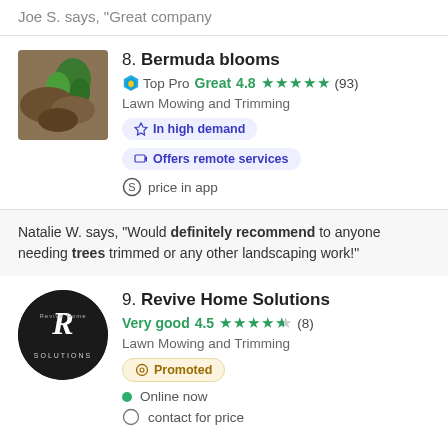Joe S. says, "Great company"
8. Bermuda blooms
Top Pro Great 4.8 ★★★★★ (93)
Lawn Mowing and Trimming
In high demand
Offers remote services
price in app
Natalie W. says, "Would definitely recommend to anyone needing trees trimmed or any other landscaping work!"
9. Revive Home Solutions
Very good 4.5 ★★★★½ (8)
Lawn Mowing and Trimming
Promoted
Online now
contact for price